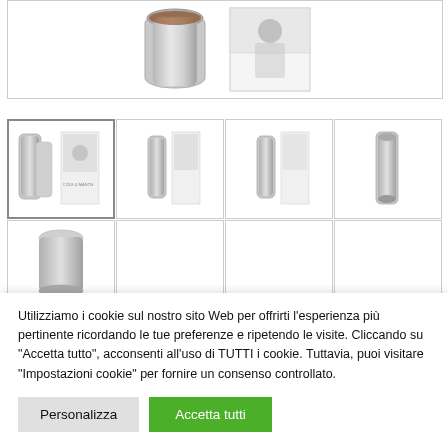[Figure (photo): Top product image showing a stainless steel kitchen grinder/mill next to its white box packaging with a cat/chef image]
[Figure (photo): Thumbnail 1 (active/selected): Two-piece salt and pepper grinder set with packaging]
[Figure (photo): Thumbnail 2: Single grinder with packaging box]
[Figure (photo): Thumbnail 3: Single grinder with packaging box (side view)]
[Figure (photo): Thumbnail 4: Single grinder without box]
[Figure (photo): Thumbnail 5 (second row): Single grinder top view]
Utilizziamo i cookie sul nostro sito Web per offrirti l'esperienza più pertinente ricordando le tue preferenze e ripetendo le visite. Cliccando su "Accetta tutto", acconsenti all'uso di TUTTI i cookie. Tuttavia, puoi visitare "Impostazioni cookie" per fornire un consenso controllato.
Personalizza
Accetta tutti